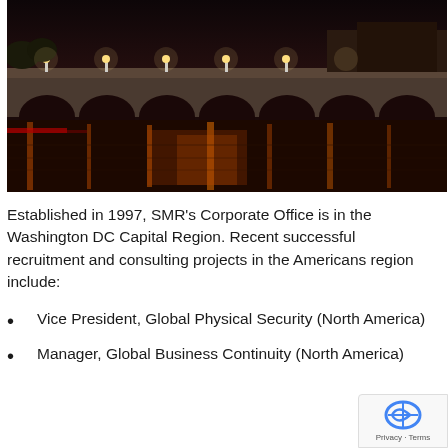[Figure (photo): Night photograph of a stone arch bridge reflected in water, with warm orange and gold lighting from street lamps reflecting on the river surface. The bridge has multiple arches visible.]
Established in 1997, SMR's Corporate Office is in the Washington DC Capital Region. Recent successful recruitment and consulting projects in the Americans region include:
Vice President, Global Physical Security (North America)
Manager, Global Business Continuity (North America)